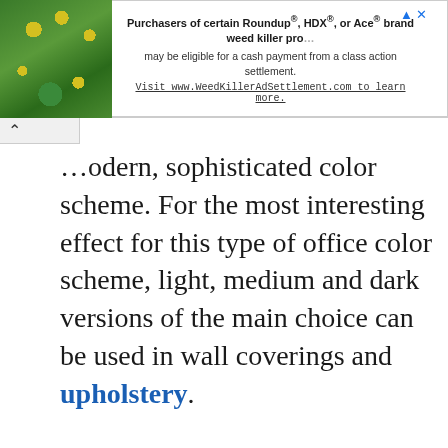[Figure (other): Advertisement banner with a plant/flower image on the left and text on the right. Text reads: 'Purchasers of certain Roundup®, HDX®, or Ace® brand weed killer products may be eligible for a cash payment from a class action settlement. Visit www.WeedKillerAdSettlement.com to learn more.']
...odern, sophisticated color scheme. For the most interesting effect for this type of office color scheme, light, medium and dark versions of the main choice can be used in wall coverings and upholstery.